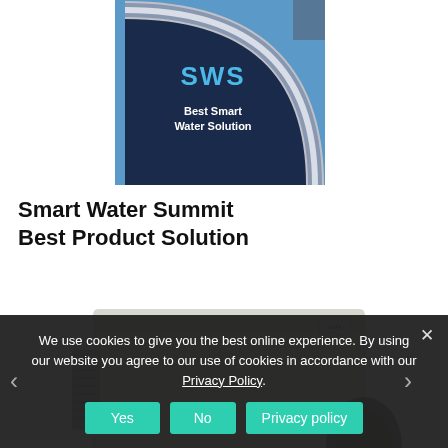[Figure (photo): SWS award trophy - Best Smart Water Solution, a blue and silver award]
Smart Water Summit Best Product Solution
[Figure (photo): alegro water metering device/data concentrator unit, a beige/cream colored box with antennas and a satellite dish component]
We use cookies to give you the best online experience. By using our website you agree to our use of cookies in accordance with our Privacy Policy.